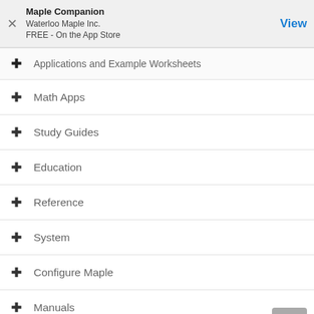[Figure (screenshot): App store banner for Maple Companion by Waterloo Maple Inc., FREE on the App Store, with a View button]
Applications and Example Worksheets
Math Apps
Study Guides
Education
Reference
System
Configure Maple
Manuals
Tasks